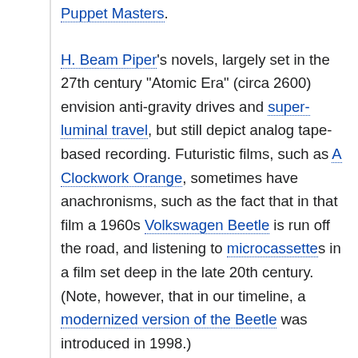Puppet Masters.
H. Beam Piper's novels, largely set in the 27th century "Atomic Era" (circa 2600) envision anti-gravity drives and super-luminal travel, but still depict analog tape-based recording. Futuristic films, such as A Clockwork Orange, sometimes have anachronisms, such as the fact that in that film a 1960s Volkswagen Beetle is run off the road, and listening to microcassettes in a film set deep in the late 20th century. (Note, however, that in our timeline, a modernized version of the Beetle was introduced in 1998.)
This can happen another way as well: William Gibson's Sprawl trilogy depicts a cyberpunk world of fantastically advanced technology in which